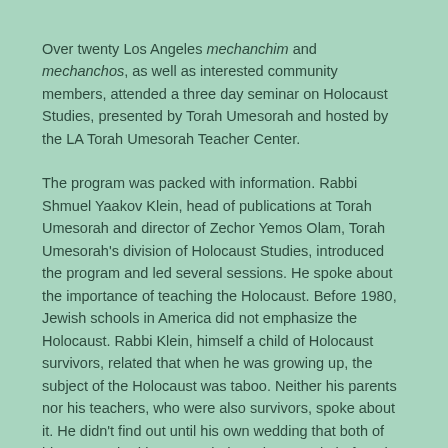Over twenty Los Angeles mechanchim and mechanchos, as well as interested community members, attended a three day seminar on Holocaust Studies, presented by Torah Umesorah and hosted by the LA Torah Umesorah Teacher Center.
The program was packed with information. Rabbi Shmuel Yaakov Klein, head of publications at Torah Umesorah and director of Zechor Yemos Olam, Torah Umesorah's division of Holocaust Studies, introduced the program and led several sessions. He spoke about the importance of teaching the Holocaust. Before 1980, Jewish schools in America did not emphasize the Holocaust. Rabbi Klein, himself a child of Holocaust survivors, related that when he was growing up, the subject of the Holocaust was taboo. Neither his parents nor his teachers, who were also survivors, spoke about it. He didn't find out until his own wedding that both of his parents had been married to other people before the war and had children who did not survive.
Rabbi Klein explained that the decades following the Holocaust were not the right time to talk about it. The survivors, greatly traumatized by their experiences, tried hard to put the past behind them and rebuild the Jewish community anew. Their tremendous